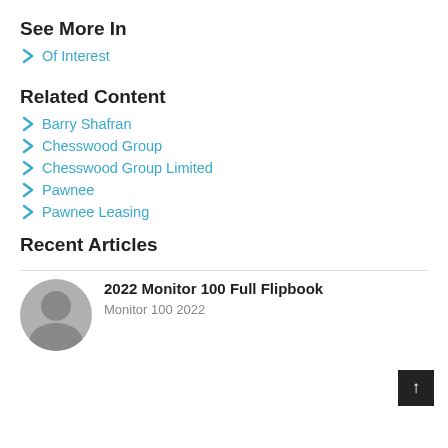See More In
Of Interest
Related Content
Barry Shafran
Chesswood Group
Chesswood Group Limited
Pawnee
Pawnee Leasing
Recent Articles
2022 Monitor 100 Full Flipbook
Monitor 100 2022